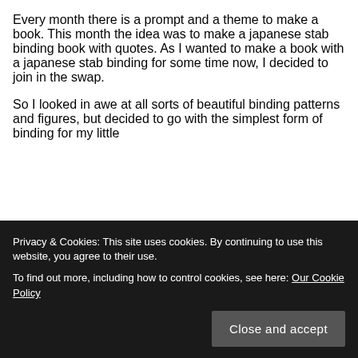Every month there is a prompt and a theme to make a book. This month the idea was to make a japanese stab binding book with quotes. As I wanted to make a book with a japanese stab binding for some time now, I decided to join in the swap.
So I looked in awe at all sorts of beautiful binding patterns and figures, but decided to go with the simplest form of binding for my little
Privacy & Cookies: This site uses cookies. By continuing to use this website, you agree to their use. To find out more, including how to control cookies, see here: Our Cookie Policy
video I made.